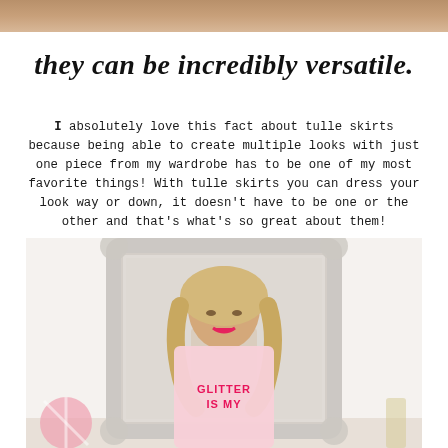[Figure (photo): Partial photo at top of page, cropped person/scene in warm tones]
they can be incredibly versatile.
I absolutely love this fact about tulle skirts because being able to create multiple looks with just one piece from my wardrobe has to be one of my most favorite things! With tulle skirts you can dress your look way or down, it doesn't have to be one or the other and that's what's so great about them!
[Figure (photo): Young blonde woman wearing a pink t-shirt that reads GLITTER IS MY, standing in front of an ornate white mirror frame. She has long wavy blonde hair, pink lips, and is smiling.]